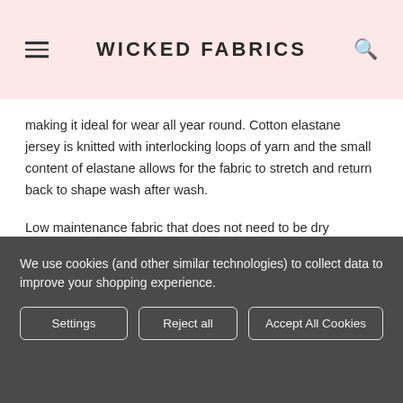WICKED FABRICS
making it ideal for wear all year round. Cotton elastane jersey is knitted with interlocking loops of yarn and the small content of elastane allows for the fabric to stretch and return back to shape wash after wash.
Low maintenance fabric that does not need to be dry cleaned, this fabric is ethically manufactured making it a sustainable and eco-friendly option.
We use cookies (and other similar technologies) to collect data to improve your shopping experience.
Settings
Reject all
Accept All Cookies